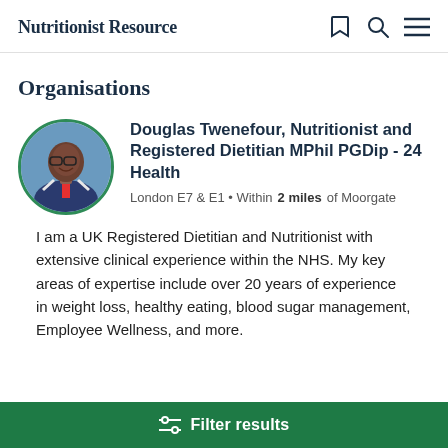Nutritionist Resource
Organisations
Douglas Twenefour, Nutritionist and Registered Dietitian MPhil PGDip - 24 Health
London E7 & E1 • Within 2 miles of Moorgate
I am a UK Registered Dietitian and Nutritionist with extensive clinical experience within the NHS. My key areas of expertise include over 20 years of experience in weight loss, healthy eating, blood sugar management, Employee Wellness, and more.
Filter results